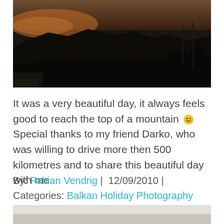[Figure (photo): Dark twilight landscape photo showing mountain silhouettes, a road, and dusky sky]
It was a very beautiful day, it always feels good to reach the top of a mountain 🙂 Special thanks to my friend Darko, who was willing to drive more then 500 kilometres and to share this beautiful day with me.
By: Fabian Vendrig |  12/09/2010 | Categories: Balkan Holiday Photography Serbia Travel
[Figure (photo): Partial bottom photo visible, appears to be a landscape scene]